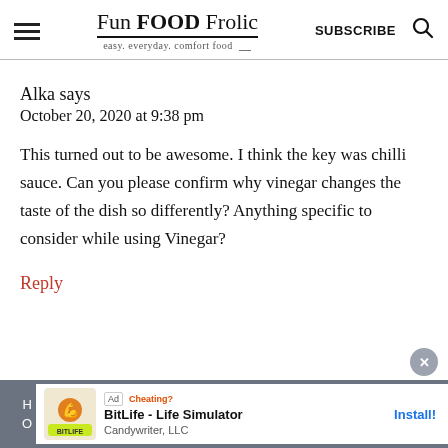Fun FOOD Frolic — easy. everyday. comfort food | SUBSCRIBE
Alka says
October 20, 2020 at 9:38 pm
This turned out to be awesome. I think the key was chilli sauce. Can you please confirm why vinegar changes the taste of the dish so differently? Anything specific to consider while using Vinegar?
Reply
[Figure (screenshot): Ad banner for BitLife - Life Simulator by Candywriter, LLC with Install button]